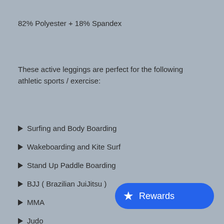82% Polyester + 18% Spandex
These active leggings are perfect for the following athletic sports / exercise:
Surfing and Body Boarding
Wakeboarding and Kite Surf
Stand Up Paddle Boarding
BJJ ( Brazilian JuiJitsu )
MMA
Judo